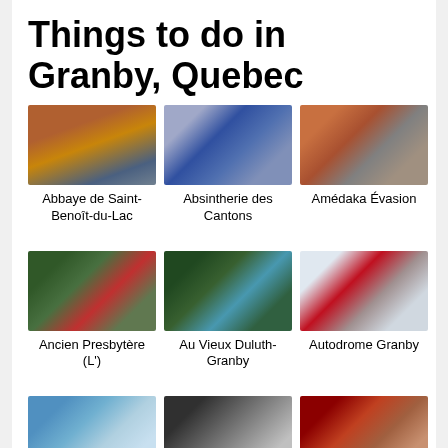Things to do in Granby, Quebec
[Figure (photo): Aerial view of Abbaye de Saint-Benoît-du-Lac with autumn foliage]
Abbaye de Saint-Benoît-du-Lac
[Figure (photo): Bottles of absinthe from Absintherie des Cantons]
Absintherie des Cantons
[Figure (photo): Street view of Amédaka Évasion storefront]
Amédaka Évasion
[Figure (photo): Ancien Presbytère (L') building with people outside]
Ancien Presbytère (L')
[Figure (photo): Au Vieux Duluth-Granby restaurant patio]
Au Vieux Duluth-Granby
[Figure (photo): Autodrome Granby racing event with crowd]
Autodrome Granby
[Figure (photo): Park or waterfront scene in Granby]
[Figure (photo): Indoor gallery or museum space]
[Figure (photo): Restaurant or cafe interior with red furniture]